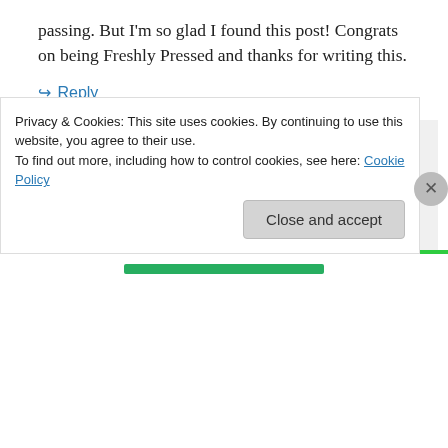passing. But I'm so glad I found this post! Congrats on being Freshly Pressed and thanks for writing this.
↪ Reply
tcohen1267 on August 10, 2012 at 4:52 pm
Thanks for reading and for the kind words. We are fortunate to live in an era where much of the Dead's greatness was not only
Privacy & Cookies: This site uses cookies. By continuing to use this website, you agree to their use.
To find out more, including how to control cookies, see here: Cookie Policy